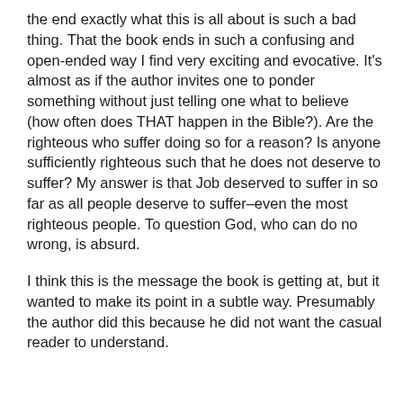the end exactly what this is all about is such a bad thing. That the book ends in such a confusing and open-ended way I find very exciting and evocative. It's almost as if the author invites one to ponder something without just telling one what to believe (how often does THAT happen in the Bible?). Are the righteous who suffer doing so for a reason? Is anyone sufficiently righteous such that he does not deserve to suffer? My answer is that Job deserved to suffer in so far as all people deserve to suffer–even the most righteous people. To question God, who can do no wrong, is absurd.
I think this is the message the book is getting at, but it wanted to make its point in a subtle way. Presumably the author did this because he did not want the casual reader to understand.